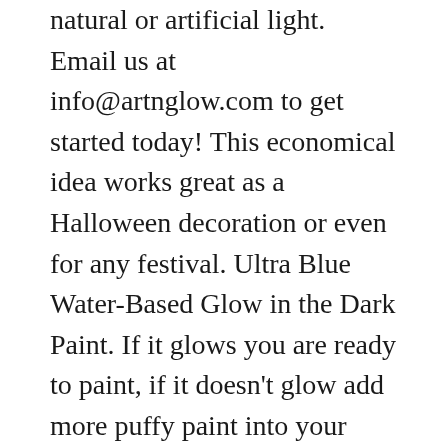natural or artificial light. Email us at info@artnglow.com to get started today! This economical idea works great as a Halloween decoration or even for any festival. Ultra Blue Water-Based Glow in the Dark Paint. If it glows you are ready to paint, if it doesn't glow add more puffy paint into your mixture and stir it together. 4.6 out of 5 stars 25. Now, I truly wanted to write a number here and end this article as you most probably are looking for a time period, be it minutes or hours, but the truth is I can't. Mar 24, 2015 - Paint glows in the dark for 4 hours. One ounce will make one pound of gel glow like crazy. 49. For best results apply Glow In The Dark paint over white or light coloured surface. Feb 19, 2018 -